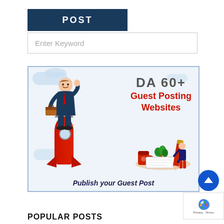POST
Enter Keyword
[Figure (illustration): Promotional graphic for DA 60+ Guest Posting Websites. Shows a cartoon businessman riding a red rocket, with text 'DA 60+ Guest Posting Websites' and 'Publish your Guest Post'. Includes a small writing scene with a person and pencil.]
POPULAR POSTS